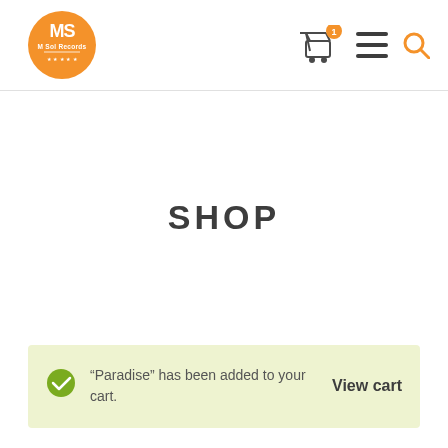[Figure (logo): M Sol Records logo — orange circle with white MS letters and 'M Sol Records' text]
[Figure (infographic): Navigation icons: shopping cart with orange badge showing '1', hamburger menu, and search/magnifier icon in orange]
SHOP
“Paradise” has been added to your cart.
View cart